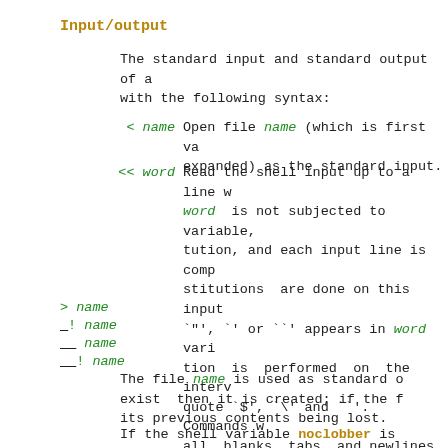Input/output
The standard input and standard output of a with the following syntax:
< name   Open file name (which is first va expanded) as the standard input.
<< word  Read the shell input up to a line w word is not subjected to variable, tution, and each input line is comp stitutions are done on this input `"', `' or ``' appears in word vari tion is performed on the interv quote `$', `\' and ``'. Commands w all blanks, tabs, and newlines pre newline which is dropped. The resu anonymous temporary file which is g dard input.
> name
_! name
__ name
__! name
The file name is used as standard o exist then it is created; if the f its previous contents being lost.
If the shell variable noclobber is exist or be a character specia